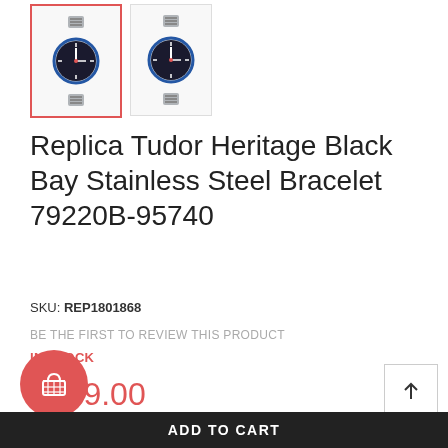[Figure (photo): Two thumbnail images of Tudor Heritage Black Bay watch with stainless steel bracelet; the left thumbnail has a red/pink border indicating it is selected.]
Replica Tudor Heritage Black Bay Stainless Steel Bracelet 79220B-95740
SKU: REP1801868
BE THE FIRST TO REVIEW THIS PRODUCT
IN STOCK
$179.00
- 1 +
[Figure (illustration): Red circular cart icon button with shopping basket icon]
[Figure (illustration): White square scroll-to-top button with upward arrow icon]
ADD TO CART